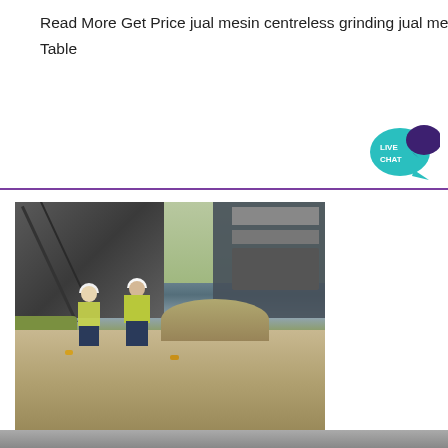Read More Get Price jual mesin centreless grinding jual mesin centreless grinding Cyclone Unit Rod mill Concentrating Table
[Figure (photo): Two workers wearing white hard hats and yellow high-visibility vests (one labeled ZENITH) standing on a gravel yard in front of large industrial crushing/processing equipment with conveyor belts and structural framework.]